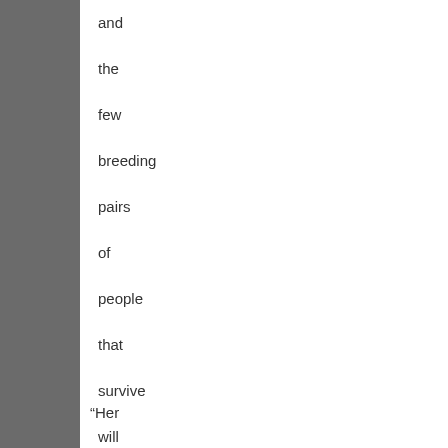and the few breeding pairs of people that survive will be in the Arctic where the climate remains tolerable. (http://comment.independent.co.uk/commentators/article33
“Her condition